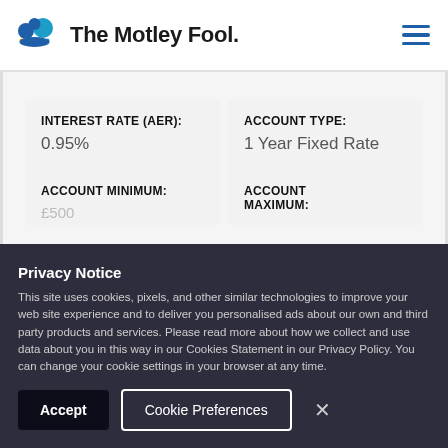[Figure (logo): The Motley Fool logo with jester hat icon and hamburger menu icon]
| INTEREST RATE (AER): | ACCOUNT TYPE: |
| --- | --- |
| 0.95% | 1 Year Fixed Rate |
| ACCOUNT MINIMUM: | ACCOUNT MAXIMUM: |
Privacy Notice
This site uses cookies, pixels, and other similar technologies to improve your web site experience and to deliver you personalised ads about our own and third party products and services. Please read more about how we collect and use data about you in this way in our Cookies Statement in our Privacy Policy. You can change your cookie settings in your browser at any time.
Accept | Cookie Preferences | ×